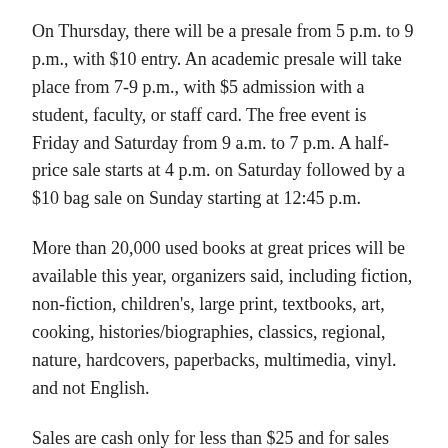On Thursday, there will be a presale from 5 p.m. to 9 p.m., with $10 entry. An academic presale will take place from 7-9 p.m., with $5 admission with a student, faculty, or staff card. The free event is Friday and Saturday from 9 a.m. to 7 p.m. A half-price sale starts at 4 p.m. on Saturday followed by a $10 bag sale on Sunday starting at 12:45 p.m.
More than 20,000 used books at great prices will be available this year, organizers said, including fiction, non-fiction, children's, large print, textbooks, art, cooking, histories/biographies, classics, regional, nature, hardcovers, paperbacks, multimedia, vinyl. and not English.
Sales are cash only for less than $25 and for sales over $25 cash or credit card. The event uses multiple rooms to meet social distancing requirements.
For more information or to volunteer, call (423) 967-7135 or email KingsportBookFair@gmail.com or go online to facebook.com/KingsportBookFair.
Reading is good for you as it improves your concentration, memory,